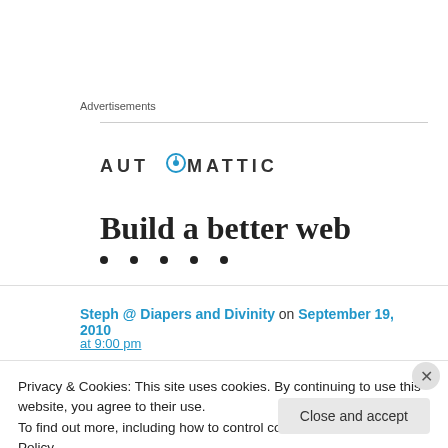Advertisements
[Figure (logo): Automattic logo with text 'AUTOMATTIC' and a compass/circle icon replacing the letter O]
Build a better web
Steph @ Diapers and Divinity on September 19, 2010
Privacy & Cookies: This site uses cookies. By continuing to use this website, you agree to their use.
To find out more, including how to control cookies, see here: Cookie Policy
Close and accept